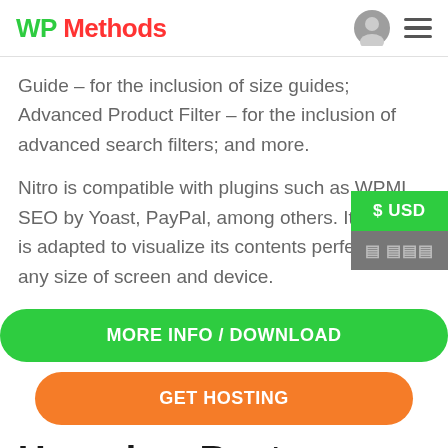WP Methods
Guide – for the inclusion of size guides; Advanced Product Filter – for the inclusion of advanced search filters; and more.
Nitro is compatible with plugins such as WPML, SEO by Yoast, PayPal, among others. Its design is adapted to visualize its contents perfectly in any size of screen and device.
MORE INFO / DOWNLOAD
GET HOSTING
$ USD
Uncode – Best WooCommerce